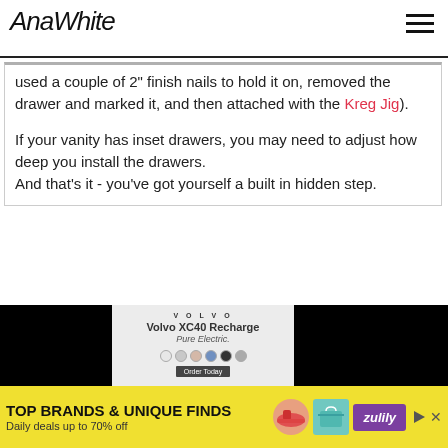AnaWhite
used a couple of 2" finish nails to hold it on, removed the drawer and marked it, and then attached with the Kreg Jig).
If your vanity has inset drawers, you may need to adjust how deep you install the drawers.
And that's it - you've got yourself a built in hidden step.
[Figure (screenshot): Advertisement for Volvo XC40 Recharge Pure Electric, showing the car with color options, flanked by black panels]
[Figure (screenshot): Bottom banner advertisement for Zulily: TOP BRANDS & UNIQUE FINDS, Daily deals up to 70% off, with shoe and bag images on yellow background]